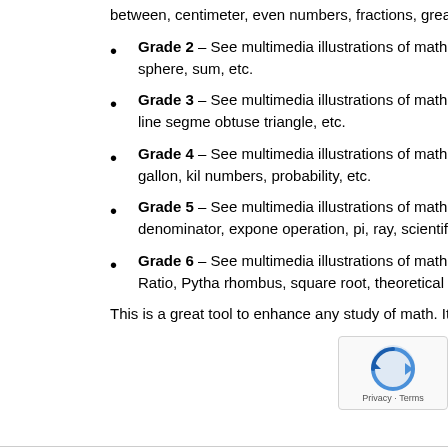between, centimeter, even numbers, fractions, greater than, symmetry, minus, etc.
Grade 2 – See multimedia illustrations of math terms such as figures, divide, fact family, gram, perimeter, sphere, sum, etc.
Grade 3 – See multimedia illustrations of math terms such as decimal, Celsius, Fahrenheit, equilateral triangle, line segment, obtuse triangle, etc.
Grade 4 – See multimedia illustrations of math terms such as associative property of addition, cardinal number, gallon, kilo numbers, probability, etc.
Grade 5 – See multimedia illustrations of math terms such as commutative property of multiplication, denominator, exponent, operation, pi, ray, scientific notation, etc.
Grade 6 – See multimedia illustrations of math terms such as coordinate plane, Fibonacci Sequence, Golden Ratio, Pythagoras, rhombus, square root, theoretical probability, x-axis, y-coordinate.
This is a great tool to enhance any study of math. It introduce various math terms and concepts without